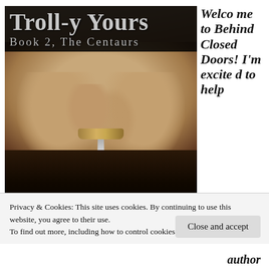[Figure (illustration): Book cover for 'Troll-y Yours, Book 2, The Centaurs' showing muscular torso with hands gripping a sword, dark background with title text overlay]
Welcome to Behind Closed Doors! I'm excited to help author
Privacy & Cookies: This site uses cookies. By continuing to use this website, you agree to their use.
To find out more, including how to control cookies, see here: Cookie Policy
Close and accept
author